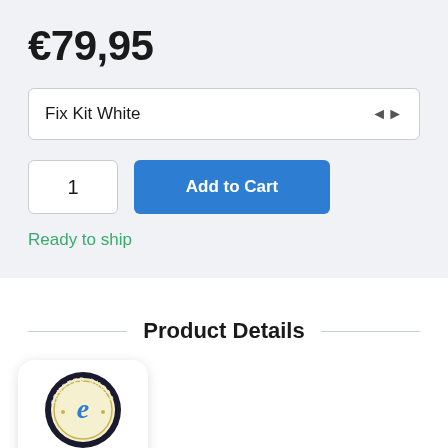€79,95
Fix Kit White
1
Add to Cart
Ready to ship
Product Details
[Figure (logo): Trusted Shops e-Guarantee seal badge with stars rating 4.83]
RIPTION
This iPhone 8 screen replacement includes all of the small